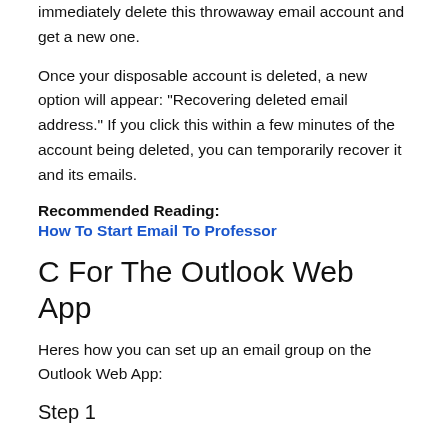immediately delete this throwaway email account and get a new one.
Once your disposable account is deleted, a new option will appear: “Recovering deleted email address.” If you click this within a few minutes of the account being deleted, you can temporarily recover it and its emails.
Recommended Reading:
How To Start Email To Professor
C For The Outlook Web App
Heres how you can set up an email group on the Outlook Web App:
Step 1